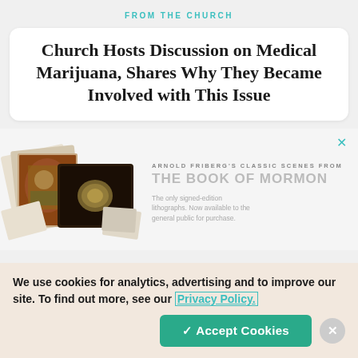FROM THE CHURCH
Church Hosts Discussion on Medical Marijuana, Shares Why They Became Involved with This Issue
[Figure (photo): Advertisement showing Arnold Friberg's classic scenes from The Book of Mormon — art prints and a book displayed, with text: 'The only signed-edition lithographs. Now available to the general public for purchase.']
We use cookies for analytics, advertising and to improve our site. To find out more, see our Privacy Policy.
✓ Accept Cookies